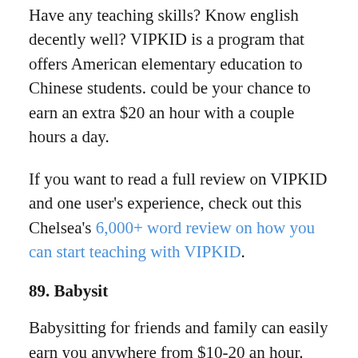Have any teaching skills? Know english decently well? VIPKID is a program that offers American elementary education to Chinese students. could be your chance to earn an extra $20 an hour with a couple hours a day.
If you want to read a full review on VIPKID and one user's experience, check out this Chelsea's 6,000+ word review on how you can start teaching with VIPKID.
89. Babysit
Babysitting for friends and family can easily earn you anywhere from $10-20 an hour. The best part is that once the kids go to sleep you can often use this time to work on side projects, study, or catch